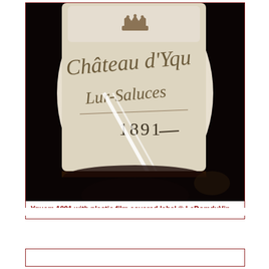[Figure (photo): Close-up photograph of a Château d'Yquem Lur-Saluces 1891 wine bottle label, partially obscured by a reflective plastic film covering. The label shows cursive script reading 'Château d'Yquem' and 'Lur-Saluces' with year '1891'. A crown emblem is visible at the top of the label. The photo has a sepia/dark tone.]
Yquem 1891 with plastic film covered label © LeDomduVin